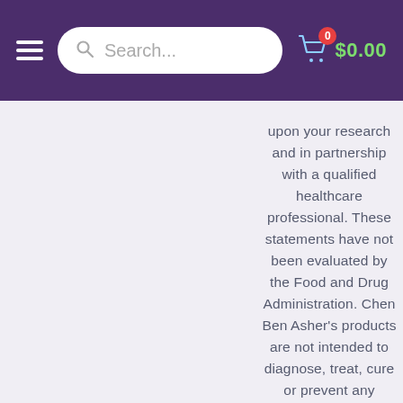Search... $0.00
upon your research and in partnership with a qualified healthcare professional. These statements have not been evaluated by the Food and Drug Administration. Chen Ben Asher's products are not intended to diagnose, treat, cure or prevent any disease. If you are pregnant,